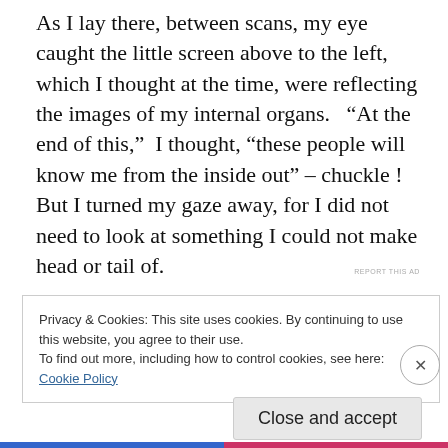As I lay there, between scans, my eye caught the little screen above to the left, which I thought at the time, were reflecting the images of my internal organs.  "At the end of this,"  I thought, "these people will know me from the inside out" – chuckle !   But I turned my gaze away, for I did not need to look at something I could not make head or tail of.
REPORT THIS AD
Privacy & Cookies: This site uses cookies. By continuing to use this website, you agree to their use.
To find out more, including how to control cookies, see here:
Cookie Policy
Close and accept